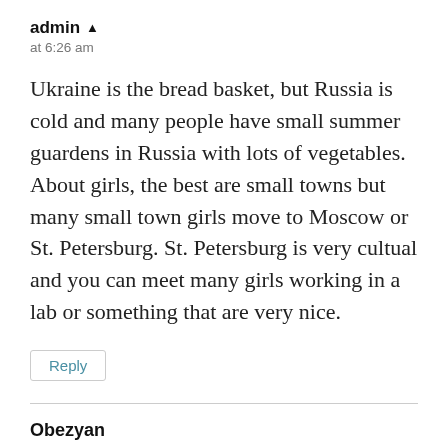admin ▲
at 6:26 am
Ukraine is the bread basket, but Russia is cold and many people have small summer guardens in Russia with lots of vegetables. About girls, the best are small towns but many small town girls move to Moscow or St. Petersburg. St. Petersburg is very cultual and you can meet many girls working in a lab or something that are very nice.
Reply
Obezyan